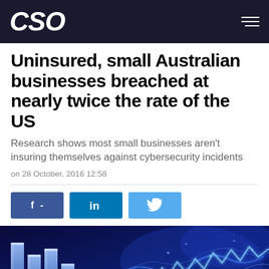CSO
Uninsured, small Australian businesses breached at nearly twice the rate of the US
Research shows most small businesses aren't insuring themselves against cybersecurity incidents
on 28 October, 2016 12:58
[Figure (screenshot): Social sharing buttons: Facebook (f -), LinkedIn (in), Twitter (bird icon)]
[Figure (photo): Blue digital finance/cybersecurity themed image with glowing bar charts and circuit-like light patterns on dark blue background]